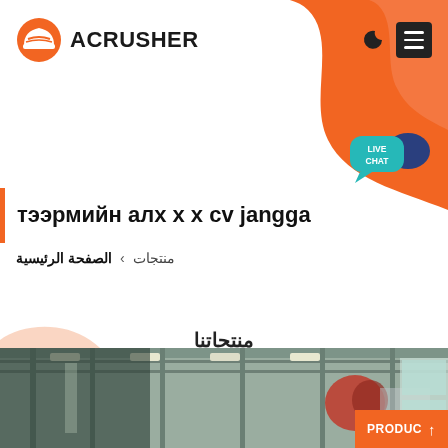[Figure (logo): Acrusher company logo with orange hard hat icon and bold ACRUSHER text]
[Figure (screenshot): Orange decorative blob shape in top right corner with moon/dark mode icon, hamburger menu icon, and Live Chat bubble]
тээрмийн алх x x cv jangga
منتجات › الصفحة الرئيسية
منتجاتنا
[Figure (photo): Interior industrial/factory ceiling photo showing equipment and machinery, partially visible at bottom of page]
PRODUC ↑